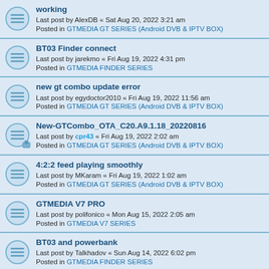working
Last post by AlexDB « Sat Aug 20, 2022 3:21 am
Posted in GTMEDIA GT SERIES (Android DVB & IPTV BOX)
BT03 Finder connect
Last post by jarekmo « Fri Aug 19, 2022 4:31 pm
Posted in GTMEDIA FINDER SERIES
new gt combo update error
Last post by egydoctor2010 « Fri Aug 19, 2022 11:56 am
Posted in GTMEDIA GT SERIES (Android DVB & IPTV BOX)
New-GTCombo_OTA_C20.A9.1.18_20220816
Last post by cpr43 « Fri Aug 19, 2022 2:02 am
Posted in GTMEDIA GT SERIES (Android DVB & IPTV BOX)
4:2:2 feed playing smoothly
Last post by MKaram « Fri Aug 19, 2022 1:02 am
Posted in GTMEDIA GT SERIES (Android DVB & IPTV BOX)
GTMEDIA V7 PRO
Last post by polifonico « Mon Aug 15, 2022 2:05 am
Posted in GTMEDIA V7 SERIES
BT03 and powerbank
Last post by Talkhadov « Sun Aug 14, 2022 6:02 pm
Posted in GTMEDIA FINDER SERIES
4.2.2 channel opening
Last post by swapan02 « Sat Aug 13, 2022 6:22 pm
Posted in GTMEDIA GT SERIES (Android DVB & IPTV BOX)
GTMedia i8S Plus
Last post by luismetal « Sat Aug 13, 2022 3:07 pm